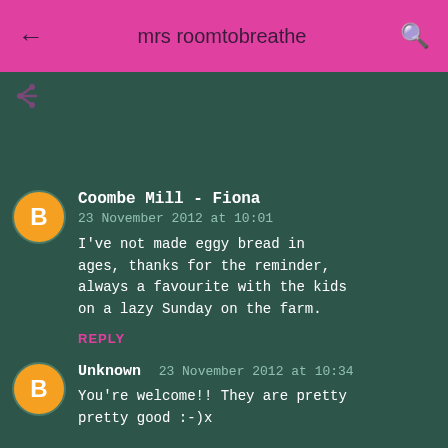mrs roomtobreathe
[Figure (screenshot): Share icon arrow pointing left]
Coombe Mill - Fiona
23 November 2012 at 10:01
I've not made eggy bread in ages, thanks for the reminder, always a favourite with the kids on a lazy Sunday on the farm.
REPLY
Unknown 23 November 2012 at 10:34
You're welcome!! They are pretty pretty good :-)x